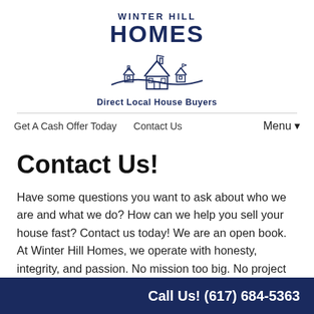[Figure (logo): Winter Hill Homes logo with house illustration and tagline 'Direct Local House Buyers']
Get A Cash Offer Today   Contact Us   Menu ▾
Contact Us!
Have some questions you want to ask about who we are and what we do? How can we help you sell your house fast? Contact us today! We are an open book. At Winter Hill Homes, we operate with honesty, integrity, and passion. No mission too big. No project too small!
Contact us right away if you have questions about
Call Us! (617) 684-5363